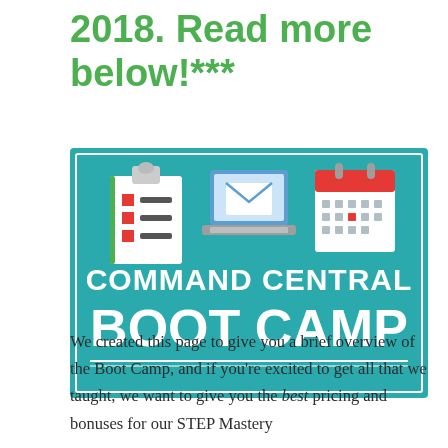2018. Read more below!***
[Figure (infographic): Command Central Boot Camp banner with teal background, showing icons of a checklist clipboard, laptop computer, and calendar. Large white bold text reads 'COMMAND CENTRAL BOOT CAMP'.]
We created this page to give you a brief overview of the Boot Camp, and if you’re excited to get all that we taught, we want to give you the best pricing and bonuses for our STEP Mastery